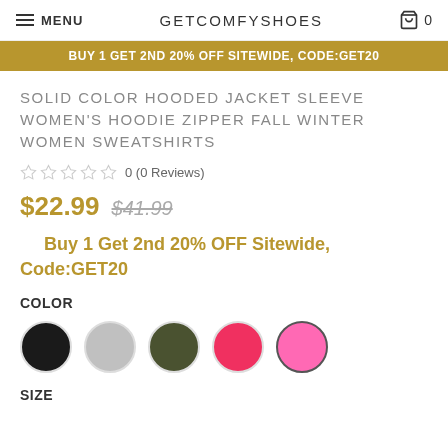MENU   GETCOMFYSHOES   0
BUY 1 GET 2ND 20% OFF SITEWIDE, CODE:GET20
SOLID COLOR HOODED JACKET SLEEVE WOMEN'S HOODIE ZIPPER FALL WINTER WOMEN SWEATSHIRTS
0 (0 Reviews)
$22.99  $41.99
Buy 1 Get 2nd 20% OFF Sitewide, Code:GET20
COLOR
[Figure (other): Five color swatches: black, gray, olive, red/pink, pink (selected with border)]
SIZE